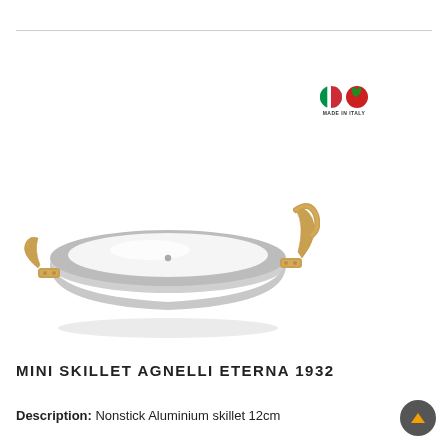[Figure (photo): A white mini skillet (Agnelli Eterna 1932) with golden/brass handles on both sides, white ceramic interior, viewed from a slight angle above. A 'Made in Italy' badge with Italian flag colors appears in the upper right area of the image.]
MINI SKILLET AGNELLI ETERNA 1932
Description: Nonstick Aluminium skillet 12cm